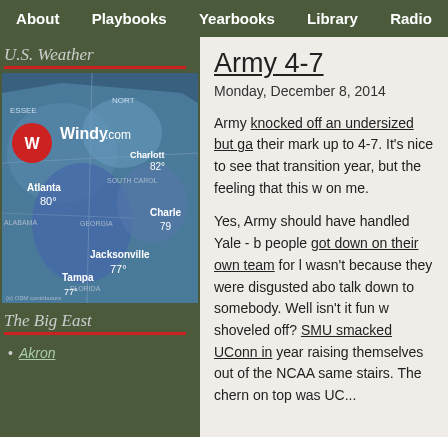About  Playbooks  Yearbooks  Library  Radio
U.S. Weather
[Figure (map): Windy.com weather map showing southeastern United States with temperature readings: Charlotte 82°, Atlanta 80°, Charleston 79°, Jacksonville 77°, Tampa 77°]
The Big East
Akron
Army 4-7
Monday, December 8, 2014
Army knocked off an undersized but ga... their mark up to 4-7. It's nice to see that... transition year, but the feeling that this w... on me.
Yes, Army should have handled Yale - b... people got down on their own team for l... wasn't because they were disgusted ab... talk down to somebody. Well isn't it fun w... shoveled off? SMU smacked UConn in... year raising themselves out of the NCAA... same stairs. The chern on top was UC...